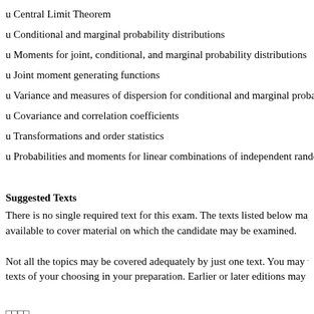u Central Limit Theorem
u Conditional and marginal probability distributions
u Moments for joint, conditional, and marginal probability distributions
u Joint moment generating functions
u Variance and measures of dispersion for conditional and marginal probability d...
u Covariance and correlation coefficients
u Transformations and order statistics
u Probabilities and moments for linear combinations of independent random var...
Suggested Texts
There is no single required text for this exam. The texts listed below may be con... available to cover material on which the candidate may be examined.
Not all the topics may be covered adequately by just one text. You may wish to ... texts of your choosing in your preparation. Earlier or later editions may also be a...
□□□□
u # A First Course in Probability (Seventh Edition), 2005, by Ross, S.M., Chapt...